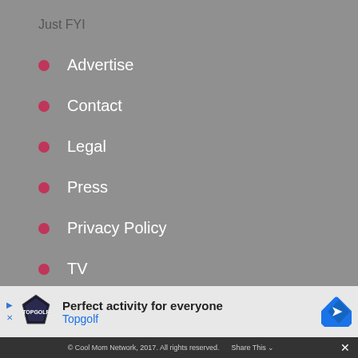Just FYI
Advertise
Contact
Legal
Press
Privacy Policy
TV
Meet our team
[Figure (other): Advertisement banner for Topgolf: 'Perfect activity for everyone' with Topgolf logo and navigation arrows]
© Cool Mom Network, 2017. All rights reserved.